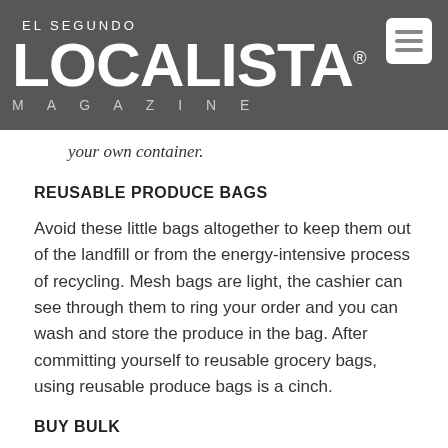[Figure (logo): El Segundo Localista Magazine logo in white text on dark gray background, with a menu icon in the upper right]
your own container.
REUSABLE PRODUCE BAGS
Avoid these little bags altogether to keep them out of the landfill or from the energy-intensive process of recycling. Mesh bags are light, the cashier can see through them to ring your order and you can wash and store the produce in the bag. After committing yourself to reusable grocery bags, using reusable produce bags is a cinch.
BUY BULK
According to the Environmental Protection Agency, in the U.S.,